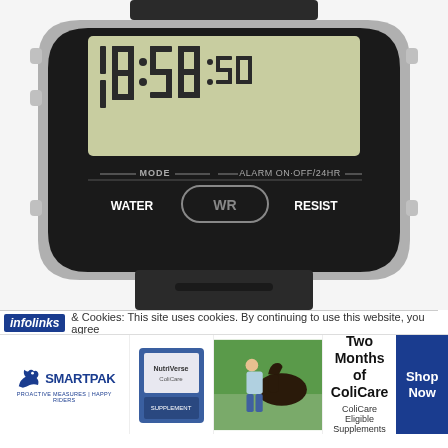[Figure (photo): Close-up photo of a Casio-style digital watch with silver rectangular case and black rubber strap. The LCD display shows '10:58:50'. Below the display, text reads: MODE | ALARM ON·OFF/24HR | WATER WR RESIST. Buttons visible on the sides. The watch strap fills the lower portion of the image.]
infolinks & Cookies: This site uses cookies. By continuing to use this website, you agree
[Figure (infographic): Advertisement banner for SmartPak featuring a horse supplement product. Left side shows SmartPak logo with horse icon and tagline 'PROACTIVE MEASURES | HAPPY RIDERS'. Center shows a product supplement box image. Right of center shows a photo of a woman with a horse. Text reads: 50% Off Two Months of ColiCare, ColiCare Eligible Supplements, CODE: COLICARE10. A blue 'Shop Now' button appears on the far right.]